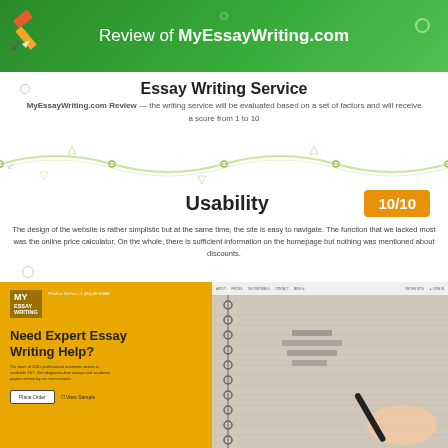Review of MyEssayWriting.com
Essay Writing Service
MyEssayWriting.com Review — the writing service will be evaluated based on a set of factors and will receive a score from 1 to 10
Usability
10/10
The design of the website is rather simplistic but at the same time, the site is easy to navigate. The function that we lacked most was the online price calculator. On the whole, there is sufficient information on the homepage but nothing was mentioned about discounts.
[Figure (screenshot): Screenshot of MyEssayWriting.com website showing yellow left panel with 'Need Expert Essay Writing Help?' heading and a notebook/writing photo on the right]